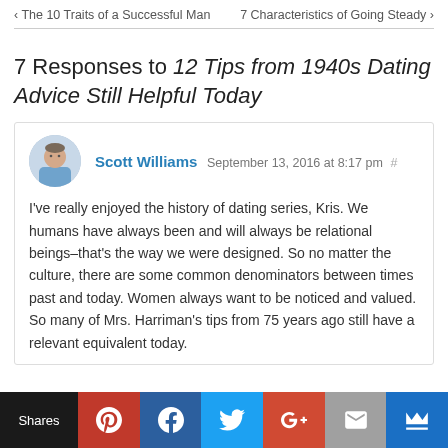< The 10 Traits of a Successful Man    7 Characteristics of Going Steady >
7 Responses to 12 Tips from 1940s Dating Advice Still Helpful Today
Scott Williams  September 13, 2016 at 8:17 pm #

I've really enjoyed the history of dating series, Kris. We humans have always been and will always be relational beings–that's the way we were designed. So no matter the culture, there are some common denominators between times past and today. Women always want to be noticed and valued. So many of Mrs. Harriman's tips from 75 years ago still have a relevant equivalent today.